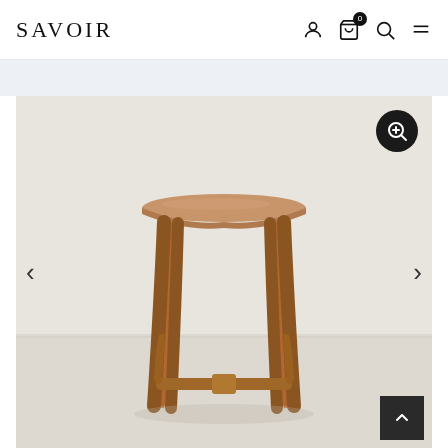SAVOIR
[Figure (photo): A wooden bar stool with a tan leather saddle seat and four angled wooden legs connected by a stretcher bar, photographed against a light grey/white wall on a light floor.]